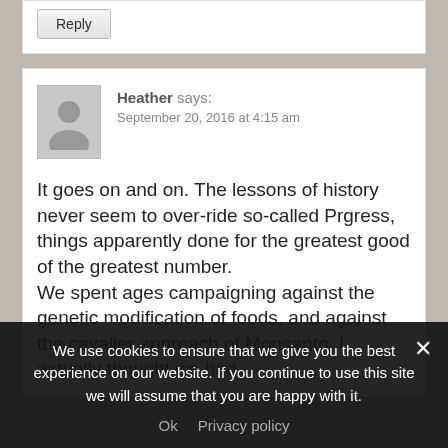Reply
Heather says:
September 20, 2016 at 4:15 am
It goes on and on. The lessons of history never seem to over-ride so-called Prgress, things apparently done for the greatest good of the greatest number.
We spent ages campaigning against the genetic modification of foods, and against the cavalier approach of Monsanto. I actually thought we had
We use cookies to ensure that we give you the best experience on our website. If you continue to use this site we will assume that you are happy with it.
Ok   Privacy policy